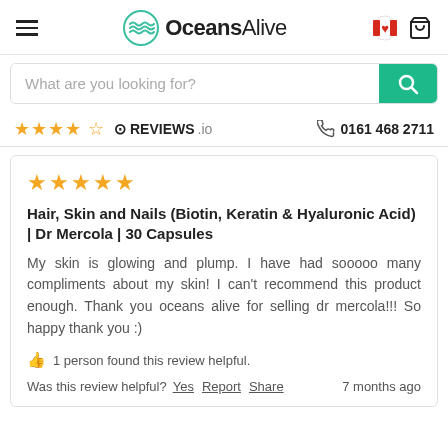OceansAlive — header navigation with hamburger menu, logo, country flag, and cart icon
What are you looking for?
★★★★☆  REVIEWS.io   0161 468 2711
★★★★★
Hair, Skin and Nails (Biotin, Keratin & Hyaluronic Acid) | Dr Mercola | 30 Capsules
My skin is glowing and plump. I have had sooooo many compliments about my skin! I can't recommend this product enough. Thank you oceans alive for selling dr mercola!!! So happy thank you :)
1 person found this review helpful.
Was this review helpful? Yes  Report  Share  7 months ago